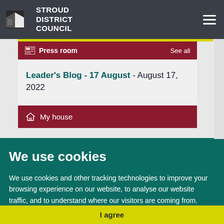Stroud District Council
Press room  See all
Leader's Blog - 17 August - August 17, 2022
My house
We use cookies
We use cookies and other tracking technologies to improve your browsing experience on our website, to analyse our website traffic, and to understand where our visitors are coming from.